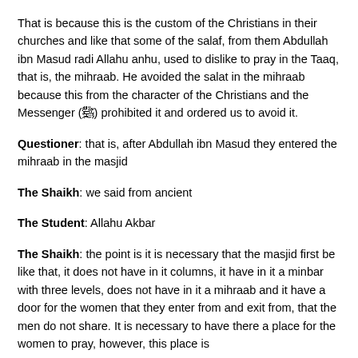That is because this is the custom of the Christians in their churches and like that some of the salaf, from them Abdullah ibn Masud radi Allahu anhu, used to dislike to pray in the Taaq, that is, the mihraab. He avoided the salat in the mihraab because this from the character of the Christians and the Messenger (ﷺ) prohibited it and ordered us to avoid it.
Questioner: that is, after Abdullah ibn Masud they entered the mihraab in the masjid
The Shaikh: we said from ancient
The Student: Allahu Akbar
The Shaikh: the point is it is necessary that the masjid first be like that, it does not have in it columns, it have in it a minbar with three levels, does not have in it a mihraab and it have a door for the women that they enter from and exit from, that the men do not share. It is necessary to have there a place for the women to pray, however, this place is not necessary to be veiled from the men with a screen or...